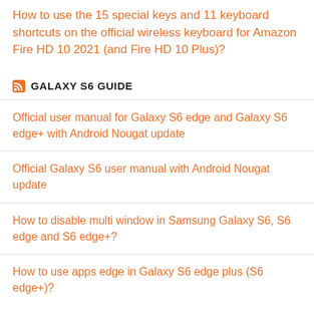How to use the 15 special keys and 11 keyboard shortcuts on the official wireless keyboard for Amazon Fire HD 10 2021 (and Fire HD 10 Plus)?
GALAXY S6 GUIDE
Official user manual for Galaxy S6 edge and Galaxy S6 edge+ with Android Nougat update
Official Galaxy S6 user manual with Android Nougat update
How to disable multi window in Samsung Galaxy S6, S6 edge and S6 edge+?
How to use apps edge in Galaxy S6 edge plus (S6 edge+)?